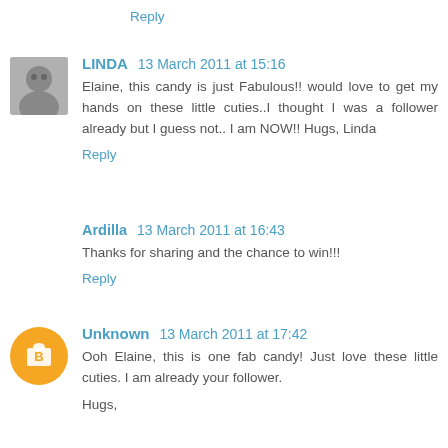Reply
LINDA  13 March 2011 at 15:16
Elaine, this candy is just Fabulous!! would love to get my hands on these little cuties..I thought I was a follower already but I guess not.. I am NOW!! Hugs, Linda
Reply
Ardilla  13 March 2011 at 16:43
Thanks for sharing and the chance to win!!!
Reply
Unknown  13 March 2011 at 17:42
Ooh Elaine, this is one fab candy! Just love these little cuties. I am already your follower.

Hugs,